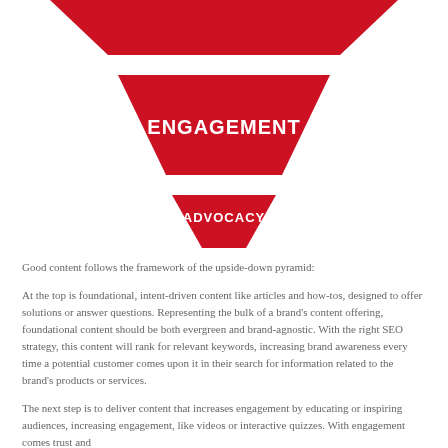[Figure (infographic): Upside-down pyramid funnel diagram showing marketing funnel stages: a large red trapezoidal shape at the top (partially visible), a medium red inverted trapezoid labeled ENGAGEMENT, and a small red inverted triangle labeled ADVOCACY at the bottom.]
Good content follows the framework of the upside-down pyramid:
At the top is foundational, intent-driven content like articles and how-tos, designed to offer solutions or answer questions. Representing the bulk of a brand's content offering, foundational content should be both evergreen and brand-agnostic. With the right SEO strategy, this content will rank for relevant keywords, increasing brand awareness every time a potential customer comes upon it in their search for information related to the brand's products or services.
The next step is to deliver content that increases engagement by educating or inspiring audiences, increasing engagement, like videos or interactive quizzes. With engagement comes trust and...